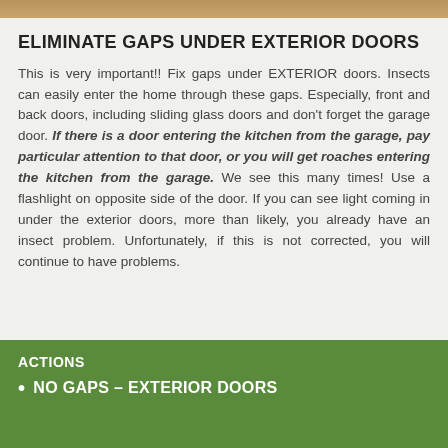ELIMINATE GAPS UNDER EXTERIOR DOORS
This is very important!! Fix gaps under EXTERIOR doors. Insects can easily enter the home through these gaps. Especially, front and back doors, including sliding glass doors and don’t forget the garage door. If there is a door entering the kitchen from the garage, pay particular attention to that door, or you will get roaches entering the kitchen from the garage. We see this many times! Use a flashlight on opposite side of the door. If you can see light coming in under the exterior doors, more than likely, you already have an insect problem. Unfortunately, if this is not corrected, you will continue to have problems.
ACTIONS
NO GAPS – EXTERIOR DOORS